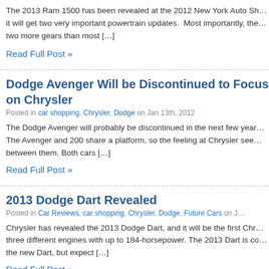The 2013 Ram 1500 has been revealed at the 2012 New York Auto Sh… it will get two very important powertrain updates.  Most importantly, the… two more gears than most […]
Read Full Post »
Dodge Avenger Will be Discontinued to Focus on Chrysler
Posted in car shopping, Chrysler, Dodge on Jan 13th, 2012
The Dodge Avenger will probably be discontinued in the next few year… The Avenger and 200 share a platform, so the feeling at Chrysler see… between them. Both cars […]
Read Full Post »
2013 Dodge Dart Revealed
Posted in Car Reviews, car shopping, Chrysler, Dodge, Future Cars on J…
Chrysler has revealed the 2013 Dodge Dart, and it will be the first Chr… three different engines with up to 184-horsepower. The 2013 Dart is co… the new Dart, but expect […]
Read Full Post »